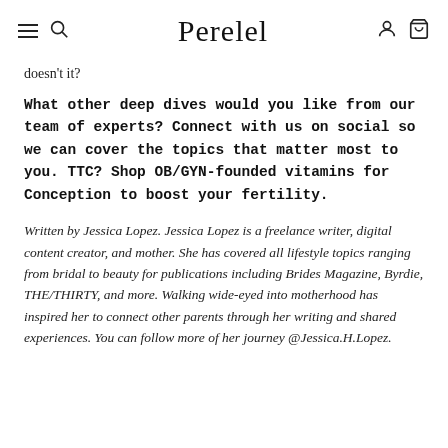Perelel
doesn't it?
What other deep dives would you like from our team of experts? Connect with us on social so we can cover the topics that matter most to you. TTC? Shop OB/GYN-founded vitamins for Conception to boost your fertility.
Written by Jessica Lopez. Jessica Lopez is a freelance writer, digital content creator, and mother. She has covered all lifestyle topics ranging from bridal to beauty for publications including Brides Magazine, Byrdie, THE/THIRTY, and more. Walking wide-eyed into motherhood has inspired her to connect other parents through her writing and shared experiences. You can follow more of her journey @Jessica.H.Lopez.